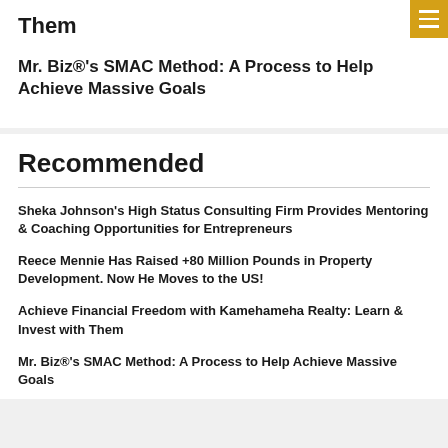Them
Mr. Biz®'s SMAC Method: A Process to Help Achieve Massive Goals
Recommended
Sheka Johnson's High Status Consulting Firm Provides Mentoring & Coaching Opportunities for Entrepreneurs
Reece Mennie Has Raised +80 Million Pounds in Property Development. Now He Moves to the US!
Achieve Financial Freedom with Kamehameha Realty: Learn & Invest with Them
Mr. Biz®'s SMAC Method: A Process to Help Achieve Massive Goals